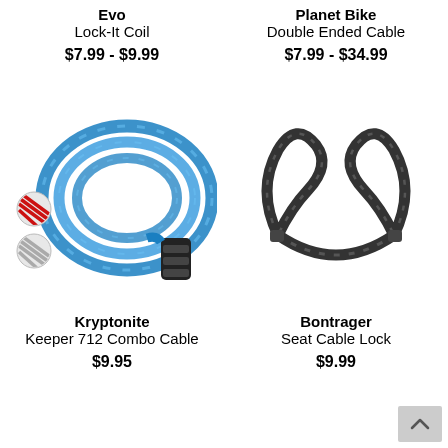Evo
Lock-It Coil
$7.99 - $9.99
Planet Bike
Double Ended Cable
$7.99 - $34.99
[Figure (photo): Blue coiled cable bike lock with black combination dial, with red and silver/white color swatches below-left]
Kryptonite
Keeper 712 Combo Cable
$9.95
[Figure (photo): Black double-ended cable lock with two loops at top, shown on white background]
Bontrager
Seat Cable Lock
$9.99